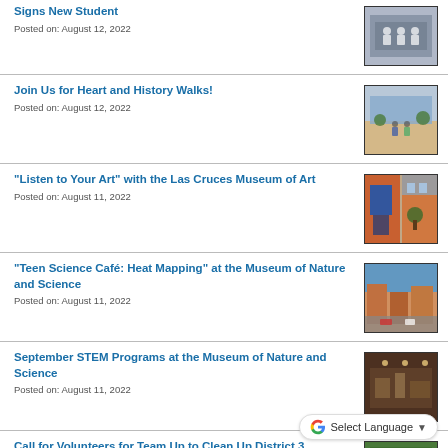Signs New Student
Posted on: August 12, 2022
Join Us for Heart and History Walks!
Posted on: August 12, 2022
"Listen to Your Art" with the Las Cruces Museum of Art
Posted on: August 11, 2022
"Teen Science Café: Heat Mapping" at the Museum of Nature and Science
Posted on: August 11, 2022
September STEM Programs at the Museum of Nature and Science
Posted on: August 11, 2022
Call for Volunteers for Team Up to Clean Up District 3